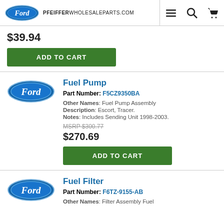PFEIFFERWHOLESALEPARTS.COM
$39.94
ADD TO CART
Fuel Pump
Part Number: F5CZ9350BA
Other Names: Fuel Pump Assembly
Description: Escort, Tracer.
Notes: Includes Sending Unit 1998-2003.
MSRP $300.77
$270.69
ADD TO CART
Fuel Filter
Part Number: F6TZ-9155-AB
Other Names: Filter Assembly Fuel